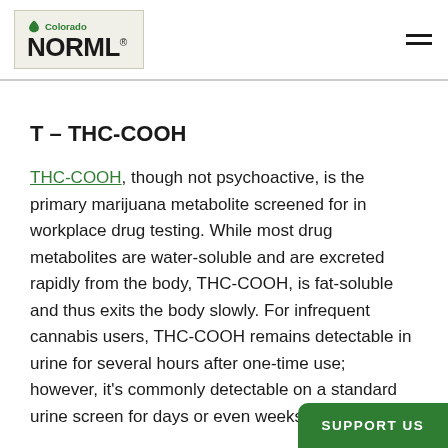[Figure (logo): Colorado NORML logo with green leaf icon and bold NORML text]
T – THC-COOH
THC-COOH, though not psychoactive, is the primary marijuana metabolite screened for in workplace drug testing. While most drug metabolites are water-soluble and are excreted rapidly from the body, THC-COOH, is fat-soluble and thus exits the body slowly. For infrequent cannabis users, THC-COOH remains detectable in urine for several hours after one-time use; however, it's commonly detectable on a standard urine screen for days or even weeks af...